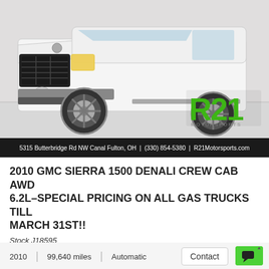[Figure (photo): White GMC Sierra 1500 Denali Crew Cab truck photographed from front-left angle in a dealership. R21 Motorsports logo visible in lower right of photo.]
5315 Butterbridge Rd NW Canal Fulton, OH  |  (330) 854-5380  |  R21Motorsports.com
2010 GMC SIERRA 1500 DENALI CREW CAB AWD 6.2L–SPECIAL PRICING ON ALL GAS TRUCKS TILL MARCH 31ST!!
Stock J18595
VIN 3GTRKXE20AG186236
*** SOLD ***
2010  |  99,640 miles  |  Automatic